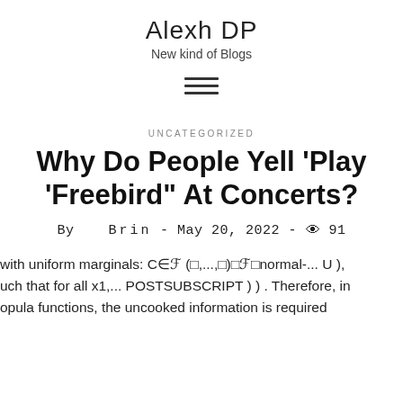Alexh DP
New kind of Blogs
UNCATEGORIZED
Why Do People Yell 'Play 'Freebird" At Concerts?
By   Brin  - May 20, 2022 - 👁 91
with uniform marginals: C∈ℱ (□,...,□)□ℱ□normal-... U ), uch that for all x1,... POSTSUBSCRIPT ) ) . Therefore, in opula functions, the uncooked information is required